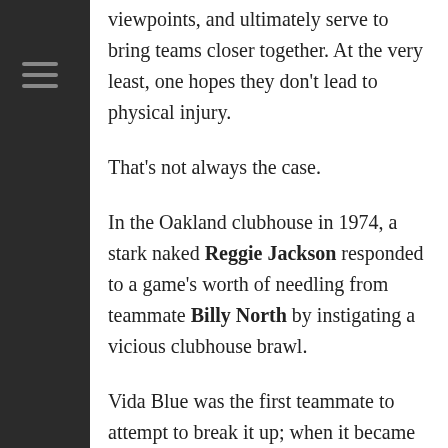viewpoints, and ultimately serve to bring teams closer together. At the very least, one hopes they don't lead to physical injury.
That's not always the case.
In the Oakland clubhouse in 1974, a stark naked Reggie Jackson responded to a game's worth of needling from teammate Billy North by instigating a vicious clubhouse brawl.
Vida Blue was the first teammate to attempt to break it up; when it became clear he needed help, catcher Ray Fosse entered the fray—and for his trouble ended up with two crushed vertebra in his neck when he was thrown against a locker. The catcher wouldn't play again for almost three months